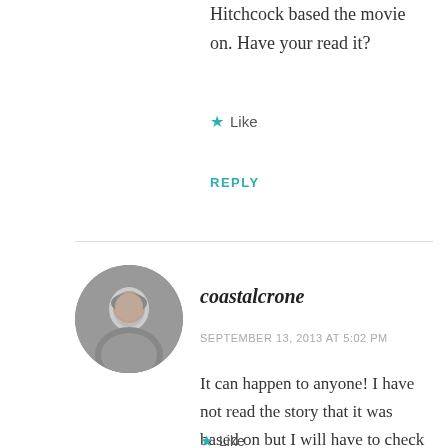Hitchcock based the movie on. Have your read it?
Like
REPLY
[Figure (photo): Circular avatar photo of a woman in a black shirt]
coastalcrone
SEPTEMBER 13, 2013 AT 5:02 PM
It can happen to anyone! I have not read the story that it was based on but I will have to check it out. Be careful out there – don't trip over a monument!
Like